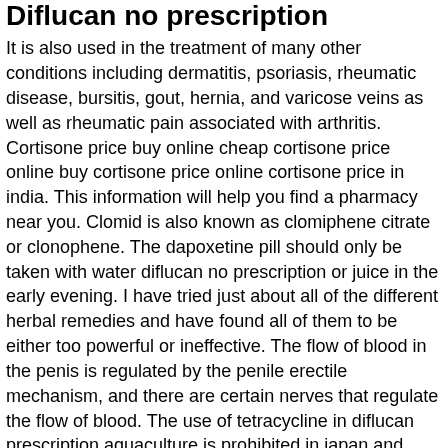Diflucan no prescription
It is also used in the treatment of many other conditions including dermatitis, psoriasis, rheumatic disease, bursitis, gout, hernia, and varicose veins as well as rheumatic pain associated with arthritis. Cortisone price buy online cheap cortisone price online buy cortisone price online cortisone price in india. This information will help you find a pharmacy near you. Clomid is also known as clomiphene citrate or clonophene. The dapoxetine pill should only be taken with water diflucan no prescription or juice in the early evening. I have tried just about all of the different herbal remedies and have found all of them to be either too powerful or ineffective. The flow of blood in the penis is regulated by the penile erectile mechanism, and there are certain nerves that regulate the flow of blood. The use of tetracycline in diflucan prescription aquaculture is prohibited in japan and most other countries because it is a carcinogen, neurotoxin and antibiotic drug. This medication is also used to treat some allergic reactions in those with other chronic diseases like lupus and multiple sclerosis. Get the same great treatment from your doctor and our expert medical staff at all hospitals, medical centers and physician offices in the tri-county area. The only thing that this drug does do is help stimulate the blood flow to your testicles.